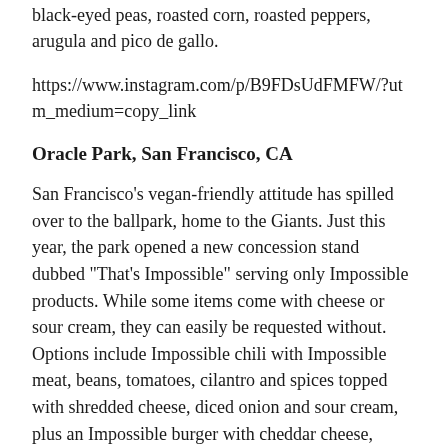black-eyed peas, roasted corn, roasted peppers, arugula and pico de gallo.
https://www.instagram.com/p/B9FDsUdFMFW/?utm_medium=copy_link
Oracle Park, San Francisco, CA
San Francisco's vegan-friendly attitude has spilled over to the ballpark, home to the Giants. Just this year, the park opened a new concession stand dubbed “That’s Impossible” serving only Impossible products. While some items come with cheese or sour cream, they can easily be requested without. Options include Impossible chili with Impossible meat, beans, tomatoes, cilantro and spices topped with shredded cheese, diced onion and sour cream, plus an Impossible burger with cheddar cheese, caramelized onion and dijonnaise on a seeded bun. Other menu items at the…